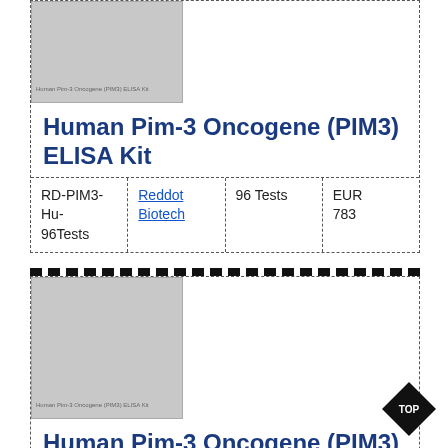[Figure (other): Gray placeholder image for Human Pim-3 Oncogene (PIM3) ELISA Kit product 1]
Human Pim-3 Oncogene (PIM3) ELISA Kit
| SKU | Supplier | Quantity | Price |
| --- | --- | --- | --- |
| RD-PIM3-Hu-96Tests | Reddot Biotech | 96 Tests | EUR 783 |
[Figure (other): Gray placeholder image for Human Pim-3 Oncogene (PIM3) ELISA Kit product 2]
Human Pim-3 Oncogene (PIM3) ELISA Kit
| SKU | Supplier | Quantity | Price |
| --- | --- | --- | --- |
| DLR-PIM3-Hu- | DL Develop... | 48T... | EUR 554 |